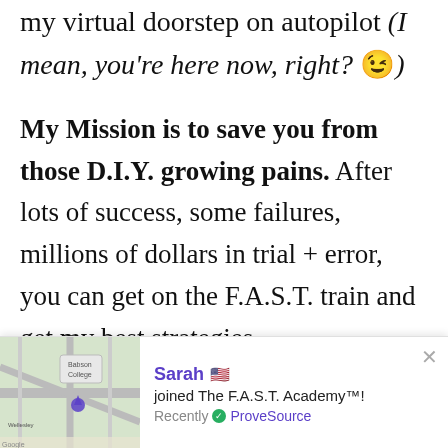my virtual doorstep on autopilot (I mean, you're here now, right? 😉)
My Mission is to save you from those D.I.Y. growing pains. After lots of success, some failures, millions of dollars in trial + error, you can get on the F.A.S.T. train and get my best strategies.
Sarah 🇺🇸 joined The F.A.S.T. Academy™! Recently ✅ ProveSource